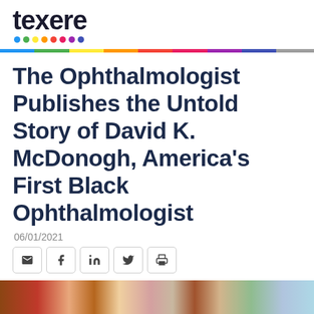texere
The Ophthalmologist Publishes the Untold Story of David K. McDonogh, America's First Black Ophthalmologist
06/01/2021
[Figure (other): Row of social sharing icon buttons: email (envelope), Facebook (f), LinkedIn (in), Twitter (bird), Print (printer)]
[Figure (photo): Partial bottom strip showing a collage of colorful images related to the article]